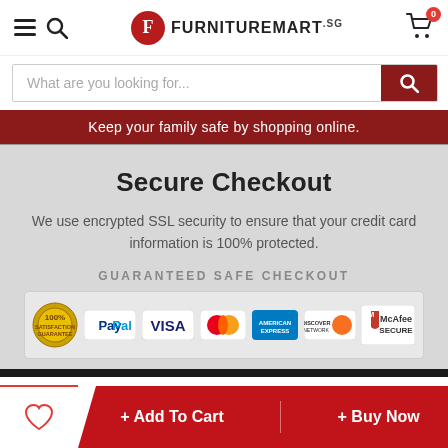FurnitureMart.sg — navigation header with hamburger menu, search icon, logo, and cart (0 items)
What are you looking for...
Keep your family safe by shopping online.
Secure Checkout
We use encrypted SSL security to ensure that your credit card information is 100% protected.
GUARANTEED SAFE CHECKOUT
[Figure (infographic): Guaranteed Safe Checkout badge row with: 100% satisfaction guarantee seal, PayPal, Visa, Mastercard, American Express, Discover, McAfee Secure logos]
+ Add To Cart
+ Buy Now